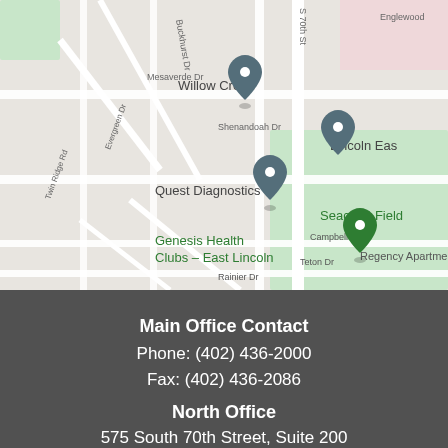[Figure (map): Google Maps screenshot showing an area of Lincoln, NE near South 70th Street. Visible landmarks include Willow Creek, Quest Diagnostics, Genesis Health Clubs – East Lincoln, Lincoln East, Seacrest Field, and street labels including Mesaverde Dr, Shenandoah Dr, Campbell Dr, Teton Dr, Rainier Dr, Twin Ridge Rd, Evergreen Dr, Buckhurst Dr, S 70th St, and Regency Apartments.]
Main Office Contact
Phone: (402) 436-2000
Fax: (402) 436-2086
North Office
575 South 70th Street, Suite 200
Lincoln, NE 68510